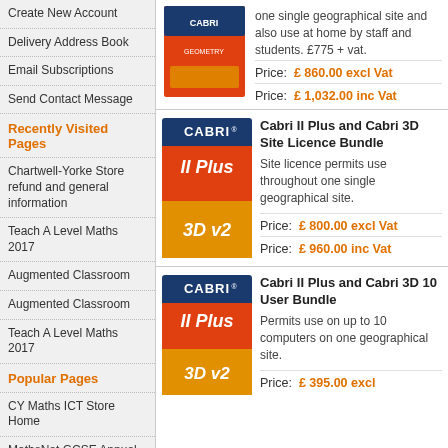Create New Account
Delivery Address Book
Email Subscriptions
Send Contact Message
Recently Visited Pages
Chartwell-Yorke Store refund and general information
Teach A Level Maths 2017
Augmented Classroom
Augmented Classroom
Teach A Level Maths 2017
Popular Pages
CY Maths ICT Store Home
MathsNet GCSE Annual Subscription
TI-Nspire Computer Software
Mathematical Games
123... Cabri
Shopping Cart
There are no items in your shopping cart.
[Figure (illustration): Cabri Geometry II Plus box cover image]
one single geographical site and also use at home by staff and students. £775 + vat.
Price: £ 860.00 excl Vat
Price: £ 1,032.00 inc Vat
[Figure (illustration): Cabri II Plus 3D v2 logo/box]
Cabri II Plus and Cabri 3D Site Licence Bundle
Site licence permits use throughout one single geographical site.
Price: £ 800.00 excl Vat
Price: £ 960.00 inc Vat
[Figure (illustration): Cabri II Plus 3D v2 logo/box second instance]
Cabri II Plus and Cabri 3D 10 User Bundle
Permits use on up to 10 computers on one geographical site.
Price: £ 395.00 excl